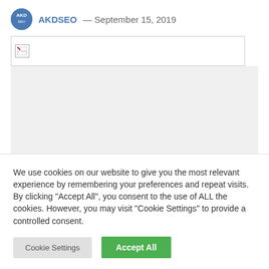AKDSEO — September 15, 2019
[Figure (other): Broken image placeholder box with small broken image icon in top-left corner]
We use cookies on our website to give you the most relevant experience by remembering your preferences and repeat visits. By clicking "Accept All", you consent to the use of ALL the cookies. However, you may visit "Cookie Settings" to provide a controlled consent.
Cookie Settings | Accept All